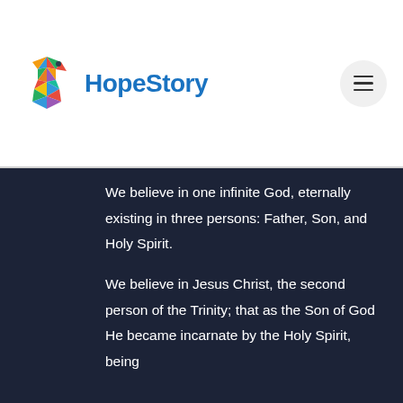[Figure (logo): HopeStory logo with colorful mosaic bird icon and blue text reading HopeStory]
We believe in one infinite God, eternally existing in three persons: Father, Son, and Holy Spirit.
We believe in Jesus Christ, the second person of the Trinity; that as the Son of God He became incarnate by the Holy Spirit, being